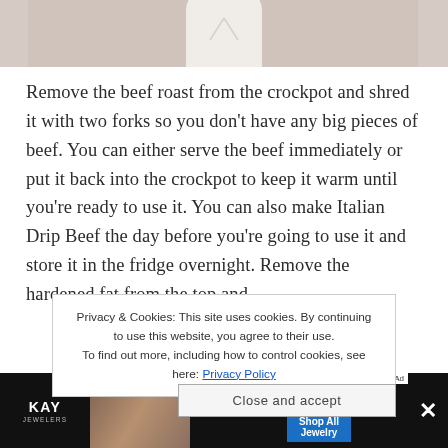[Figure (photo): Bottom portion of a person wearing a white top, showing neckline area against a light background.]
Remove the beef roast from the crockpot and shred it with two forks so you don't have any big pieces of beef. You can either serve the beef immediately or put it back into the crockpot to keep it warm until you're ready to use it. You can also make Italian Drip Beef the day before you're going to use it and store it in the fridge overnight. Remove the hardened fat from the top and
Privacy & Cookies: This site uses cookies. By continuing to use this website, you agree to their use. To find out more, including how to control cookies, see here: Privacy Policy
Close and accept
[Figure (photo): Advertisement banner for Kay Jewelers showing a couple and text: 30-50% OFF* DIAMOND FASHION JEWELRY, Shop All Jewelry]